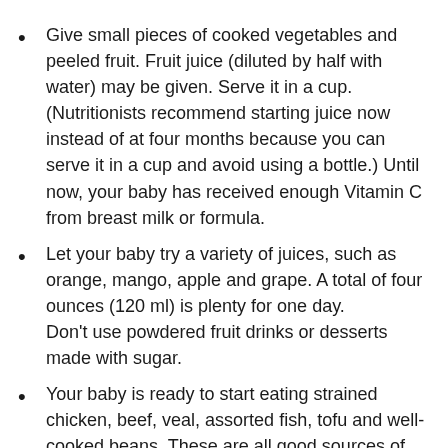Give small pieces of cooked vegetables and peeled fruit. Fruit juice (diluted by half with water) may be given. Serve it in a cup. (Nutritionists recommend starting juice now instead of at four months because you can serve it in a cup and avoid using a bottle.) Until now, your baby has received enough Vitamin C from breast milk or formula.
Let your baby try a variety of juices, such as orange, mango, apple and grape. A total of four ounces (120 ml) is plenty for one day. Don't use powdered fruit drinks or desserts made with sugar.
Your baby is ready to start eating strained chicken, beef, veal, assorted fish, tofu and well-cooked beans. These are all good sources of protein. Start with one tablespoon and increase slowly until, by 12 months,